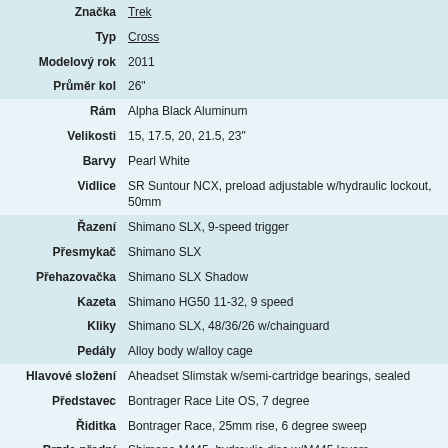| Vlastnost | Hodnota |
| --- | --- |
| Značka | Trek |
| Typ | Cross |
| Modelový rok | 2011 |
| Průměr kol | 26" |
| Rám | Alpha Black Aluminum |
| Velikosti | 15, 17.5, 20, 21.5, 23" |
| Barvy | Pearl White |
| Vidlice | SR Suntour NCX, preload adjustable w/hydraulic lockout, 50mm |
| Řazení | Shimano SLX, 9-speed trigger |
| Přesmykač | Shimano SLX |
| Přehazovačka | Shimano SLX Shadow |
| Kazeta | Shimano HG50 11-32, 9 speed |
| Kliky | Shimano SLX, 48/36/26 w/chainguard |
| Pedály | Alloy body w/alloy cage |
| Hlavové složení | Aheadset Slimstak w/semi-cartridge bearings, sealed |
| Představec | Bontrager Race Lite OS, 7 degree |
| Řiditka | Bontrager Race, 25mm rise, 6 degree sweep |
| Brzda přední | Shimano M445, hydraulic disc w/M445 levers |
| Brzda zadní | Shimano M445, hydraulic disc w/M445 levers |